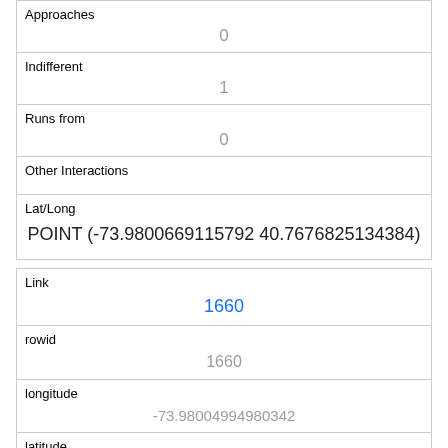| Approaches | 0 |
| Indifferent | 1 |
| Runs from | 0 |
| Other Interactions |  |
| Lat/Long | POINT (-73.9800669115792 40.7676825134384) |
| Link | 1660 |
| rowid | 1660 |
| longitude | -73.98004994980342 |
| latitude | 40.7702181099573 |
| Unique Squirrel ID |  |